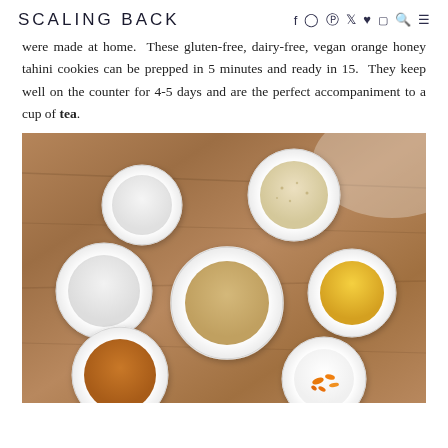SCALING BACK
were made at home.  These gluten-free, dairy-free, vegan orange honey tahini cookies can be prepped in 5 minutes and ready in 15.  They keep well on the counter for 4-5 days and are the perfect accompaniment to a cup of tea.
[Figure (photo): Overhead flat lay photo of white ceramic bowls on a wooden cutting board containing various cookie ingredients: white powder (baking soda), sesame/almond flour, salt, tahini paste, honey (yellow liquid), amber liquid (maple syrup or honey), and orange zest.]